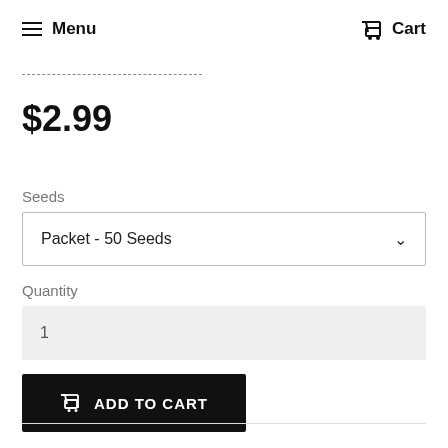Menu  Cart
$2.99
Seeds
Packet - 50 Seeds
Quantity
1
ADD TO CART